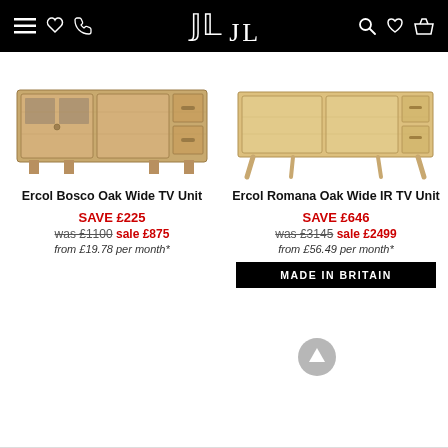JL (logo) — navigation header with menu, phone, search, wishlist, basket icons
[Figure (photo): Ercol Bosco Oak Wide TV Unit — a wide oak TV cabinet with two glazed doors and two drawers, on short block legs]
[Figure (photo): Ercol Romana Oak Wide IR TV Unit — a wide light oak sideboard/TV unit with two doors and two drawers on angled tapered legs]
Ercol Bosco Oak Wide TV Unit
Ercol Romana Oak Wide IR TV Unit
SAVE £225
was £1100 sale £875
from £19.78 per month*
SAVE £646
was £3145 sale £2499
from £56.49 per month*
MADE IN BRITAIN